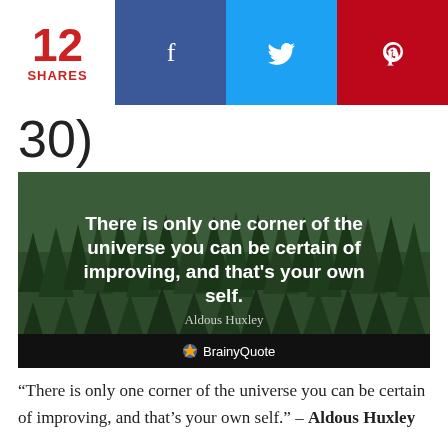12 SHARES | f | ☛ | P
30)
[Figure (illustration): A BrainyQuote image with a forest of evergreen trees as background and bold white text reading: 'There is only one corner of the universe you can be certain of improving, and that's your own self.' with attribution 'Aldous Huxley' and BrainyQuote logo at the bottom.]
“There is only one corner of the universe you can be certain of improving, and that’s your own self.” – Aldous Huxley